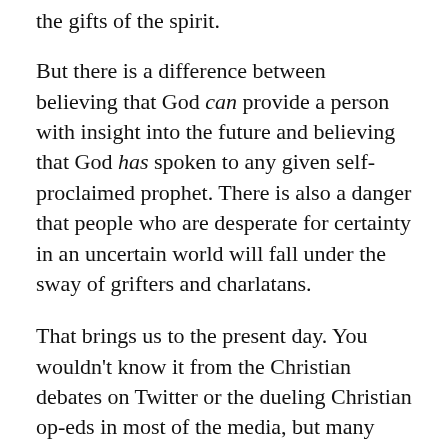the gifts of the spirit.
But there is a difference between believing that God can provide a person with insight into the future and believing that God has spoken to any given self-proclaimed prophet. There is also a danger that people who are desperate for certainty in an uncertain world will fall under the sway of grifters and charlatans.
That brings us to the present day. You wouldn't know it from the Christian debates on Twitter or the dueling Christian op-eds in most of the media, but many millions of Americans spent the Trump era deeply loyal to Trump not because of policy arguments or political debate, but in large part because “prophets” told them he was specifically and specially anointed by God for this moment. These Americans were resistant to the election outcome because they were told—again and